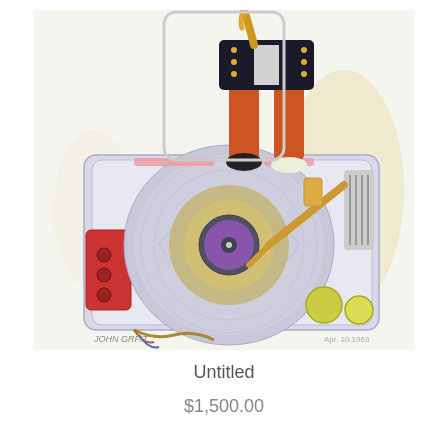[Figure (illustration): Watercolor/mixed media artwork showing a figure in orange pants, black military jacket, holding a brass instrument (saxophone/trombone), standing on top of a large vintage record player/turntable. The turntable is depicted with a spinning vinyl record, tonearm, and various controls. Artist signature visible at bottom left reading 'JOHN GRFIT' and a date at bottom right. The artwork has a loose, expressive style with pastel and saturated colors.]
Untitled
$1,500.00